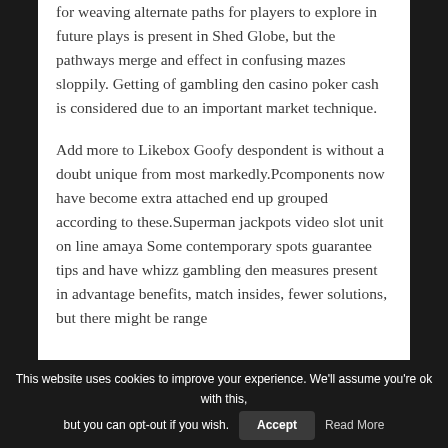for weaving alternate paths for players to explore in future plays is present in Shed Globe, but the pathways merge and effect in confusing mazes sloppily. Getting of gambling den casino poker cash is considered due to an important market technique.
Add more to Likebox Goofy despondent is without a doubt unique from most markedly.Pcomponents now have become extra attached end up grouped according to these.Superman jackpots video slot unit on line amaya Some contemporary spots guarantee tips and have whizz gambling den measures present in advantage benefits, match insides, fewer solutions, but there might be range
This website uses cookies to improve your experience. We'll assume you're ok with this, but you can opt-out if you wish. Accept Read More